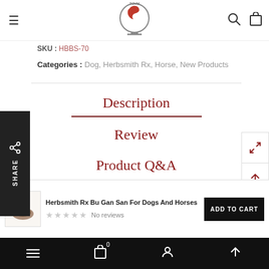TCVM website navigation header with logo, hamburger menu, search and cart icons
SKU : HBBS-70
Categories : Dog, Herbsmith Rx, Horse, New Products
Description
Review
Product Q&A
Herbsmith Rx Bu Gan San For Dogs And Horses
No reviews
Mobile navigation bar: menu, cart (0), account, scroll-up